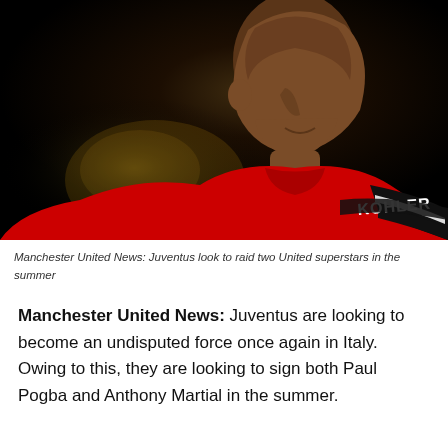[Figure (photo): A Manchester United player in red jersey with KOHLER sponsor text, head bowed down, photographed against a dark background]
Manchester United News: Juventus look to raid two United superstars in the summer
Manchester United News: Juventus are looking to become an undisputed force once again in Italy. Owing to this, they are looking to sign both Paul Pogba and Anthony Martial in the summer.